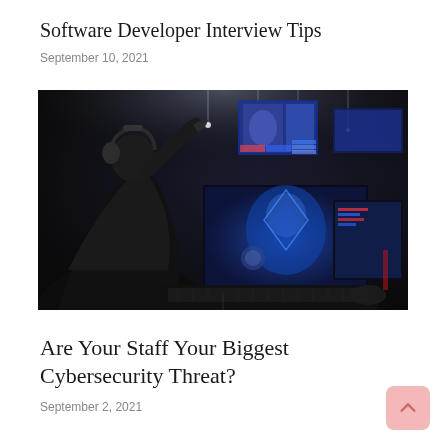Software Developer Interview Tips
September 10, 2021
[Figure (photo): Dark photograph of a person wearing a gaming headset viewed from behind, sitting in front of illuminated gaming monitors in a dark esports arena environment.]
Are Your Staff Your Biggest Cybersecurity Threat?
September 2, 2021